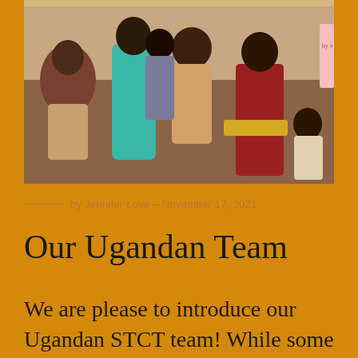[Figure (photo): Group photo of people gathered indoors, including a woman in a teal/turquoise dress standing prominently, others in colorful clothing, a child, and a person holding a sign partially visible on the right edge.]
by Jennifer Love – November 17, 2021
Our Ugandan Team
We are please to introduce our Ugandan STCT team! While some of our team members have